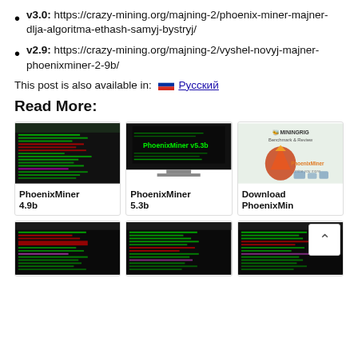v3.0: https://crazy-mining.org/majning-2/phoenix-miner-majner-dlja-algoritma-ethash-samyj-bystryj/
v2.9: https://crazy-mining.org/majning-2/vyshel-novyj-majner-phoenixminer-2-9b/
This post is also available in: Русский
Read More:
[Figure (screenshot): PhoenixMiner 4.9b terminal screenshot showing green text on black background]
[Figure (screenshot): PhoenixMiner v5.3b on monitor display with green text on black background]
[Figure (screenshot): MiningRig Benchmark & Review PhoenixMiner logo with phoenix bird]
PhoenixMiner 4.9b
PhoenixMiner 5.3b
Download PhoenixMin
[Figure (screenshot): Terminal screenshot with green text mining output]
[Figure (screenshot): Terminal screenshot with green text mining output]
[Figure (screenshot): Terminal screenshot with green text mining output]